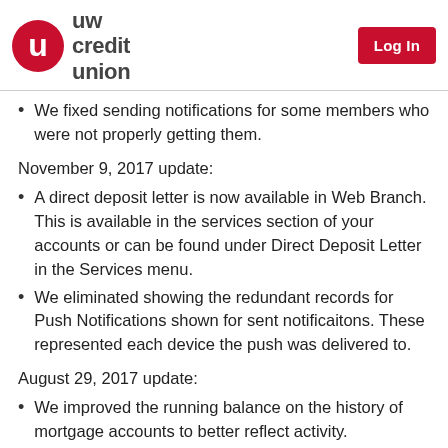UW Credit Union — Log In
We fixed sending notifications for some members who were not properly getting them.
November 9, 2017 update:
A direct deposit letter is now available in Web Branch. This is available in the services section of your accounts or can be found under Direct Deposit Letter in the Services menu.
We eliminated showing the redundant records for Push Notifications shown for sent notificaitons. These represented each device the push was delivered to.
August 29, 2017 update:
We improved the running balance on the history of mortgage accounts to better reflect activity.